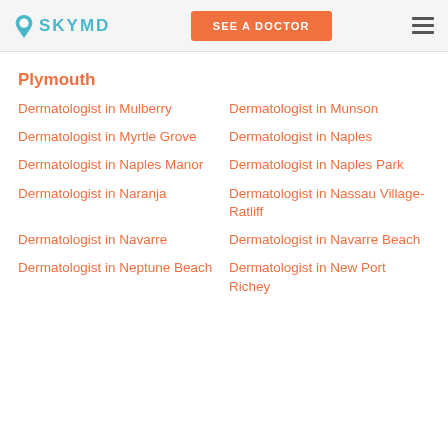SKYMD | SEE A DOCTOR
Plymouth
Dermatologist in Mulberry
Dermatologist in Munson
Dermatologist in Myrtle Grove
Dermatologist in Naples
Dermatologist in Naples Manor
Dermatologist in Naples Park
Dermatologist in Naranja
Dermatologist in Nassau Village-Ratliff
Dermatologist in Navarre
Dermatologist in Navarre Beach
Dermatologist in Neptune Beach
Dermatologist in New Port Richey